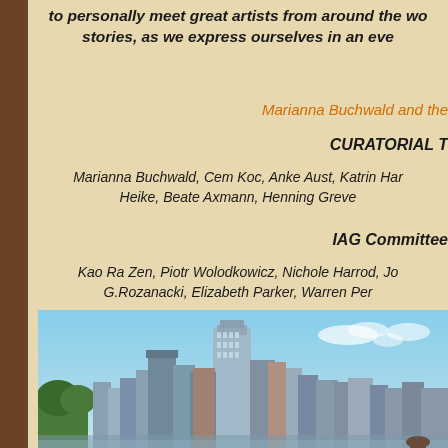to personally meet great artists from around the world and share stories, as we express ourselves in an ever...
Marianna Buchwald and the
CURATORIAL T...
Marianna Buchwald, Cem Koc, Anke Aust, Katrin Har... Heike, Beate Axmann, Henning Greve...
IAG Committee...
Kao Ra Zen, Piotr Wolodkowicz, Nichole Harrod, Jo... G.Rozanacki, Elizabeth Parker, Warren Per...
[Figure (photo): City skyline photograph showing tall modern skyscrapers against a blue sky, appears to be Chicago waterfront]